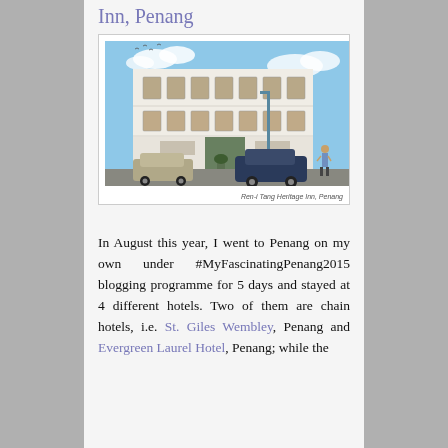Inn, Penang
[Figure (photo): Exterior photograph of Ren-i Tang Heritage Inn, Penang — a white colonial-era corner building with multiple floors, wooden shuttered windows, street-level shopfronts, and cars parked in front under a blue sky.]
Ren-i Tang Heritage Inn, Penang
In August this year, I went to Penang on my own under #MyFascinatingPenang2015 blogging programme for 5 days and stayed at 4 different hotels. Two of them are chain hotels, i.e. St. Giles Wembley, Penang and Evergreen Laurel Hotel, Penang; while the other two are independent hotels, i.e. The...